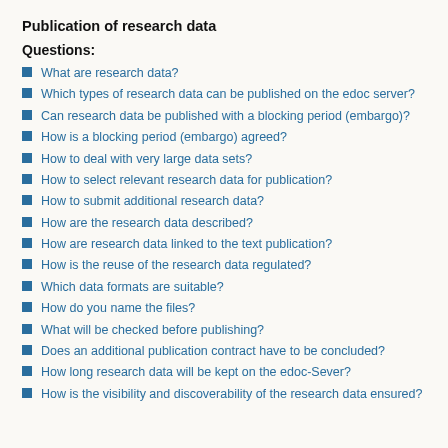Publication of research data
Questions:
What are research data?
Which types of research data can be published on the edoc server?
Can research data be published with a blocking period (embargo)?
How is a blocking period (embargo) agreed?
How to deal with very large data sets?
How to select relevant research data for publication?
How to submit additional research data?
How are the research data described?
How are research data linked to the text publication?
How is the reuse of the research data regulated?
Which data formats are suitable?
How do you name the files?
What will be checked before publishing?
Does an additional publication contract have to be concluded?
How long research data will be kept on the edoc-Sever?
How is the visibility and discoverability of the research data ensured?